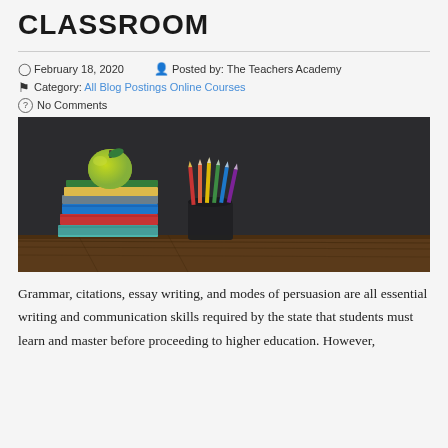CLASSROOM
February 18, 2020   Posted by: The Teachers Academy
Category: All Blog Postings Online Courses
No Comments
[Figure (photo): Classroom scene with books stacked on a wooden desk with a green apple on top, a cup of colored pencils, against a dark chalkboard background.]
Grammar, citations, essay writing, and modes of persuasion are all essential writing and communication skills required by the state that students must learn and master before proceeding to higher education. However,